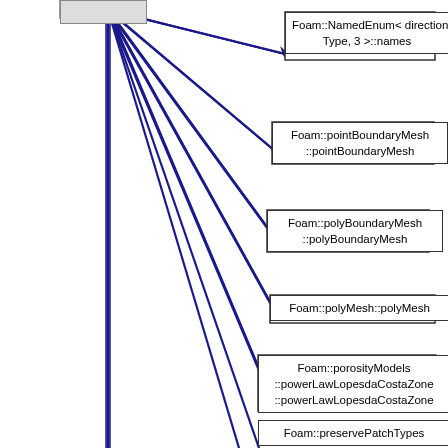[Figure (flowchart): UML-style dependency/call graph showing a source node at top-left connected by blue arrows to multiple target nodes: Foam::NamedEnum<directionType,3>::names, Foam::pointBoundaryMesh::pointBoundaryMesh, Foam::polyBoundaryMesh::polyBoundaryMesh, Foam::polyMesh::polyMesh, Foam::porosityModels::powerLawLopesdaCostaZone::powerLawLopesdaCostaZone, Foam::preservePatchTypes, Foam::fvMeshDistribute::printFieldInfo]